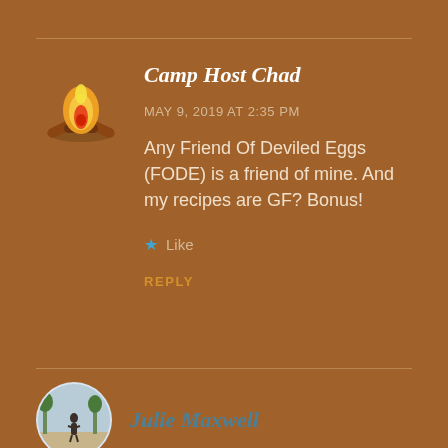[Figure (illustration): Campfire emoji/icon with yellow-orange flames and crossed logs]
Camp Host Chad
MAY 9, 2019 AT 2:35 PM
Any Friend Of Deviled Eggs (FODE) is a friend of mine. And my recipes are GF? Bonus!
Like
REPLY
[Figure (photo): Circular avatar photo of Julie Maxwell showing a person outdoors with trees]
Julie Maxwell